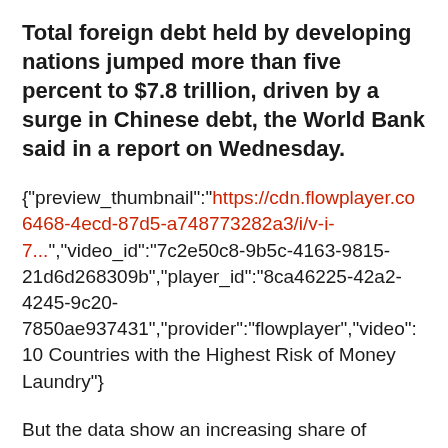Total foreign debt held by developing nations jumped more than five percent to $7.8 trillion, driven by a surge in Chinese debt, the World Bank said in a report on Wednesday.
{"preview_thumbnail":"https://cdn.flowplayer.co 6468-4ecd-87d5-a748773282a3/i/v-i-7...","video_id":"7c2e50c8-9b5c-4163-9815-21d6d268309b","player_id":"8ca46225-42a2-4245-9c20-7850ae937431","provider":"flowplayer","video": 10 Countries with the Highest Risk of Money Laundry"}
But the data show an increasing share of countries where the debt burden is rising,